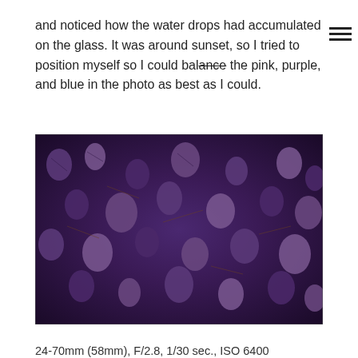and noticed how the water drops had accumulated on the glass. It was around sunset, so I tried to position myself so I could balance the pink, purple, and blue in the photo as best as I could.
[Figure (photo): Close-up photograph of many pine cones scattered on the ground, showing a dark purple-blue toned image of numerous pine cones densely packed together.]
24-70mm (58mm), F/2.8, 1/30 sec., ISO 6400
Click image to view larger
I'd camped out in this part of Colorado for a couple of days, and when I got up in the morning to head out for picture-taking, there